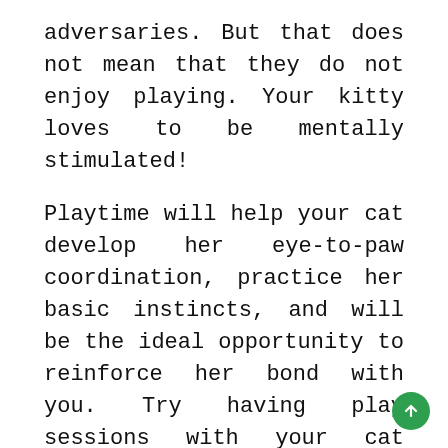adversaries. But that does not mean that they do not enjoy playing. Your kitty loves to be mentally stimulated!
Playtime will help your cat develop her eye-to-paw coordination, practice her basic instincts, and will be the ideal opportunity to reinforce her bond with you. Try having play sessions with your cat several times a day: you will soon discover her favorite games!
And don't be surprised if each game only lasts a few minutes. Cats have a short attention span, so it's totally typical for them to go astray similarly as you're idealizing your wand